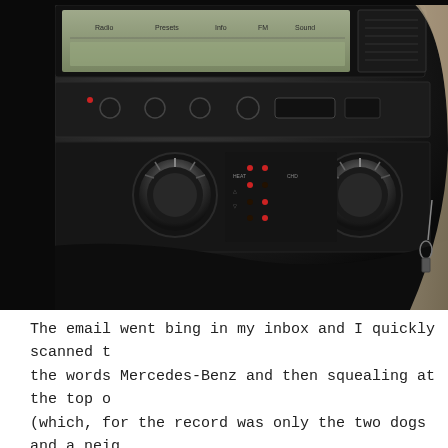[Figure (photo): Close-up interior photograph of a Mercedes-Benz vehicle dashboard, showing the center console with radio/infotainment unit displaying labels 'Radio', 'Presets', 'Info', 'FM', 'Sound', two large rotary climate control knobs, various buttons, and the right side of a steering wheel visible at the far right.]
The email went bing in my inbox and I quickly scanned t the words Mercedes-Benz and then squealing at the top o (which, for the record was only the two dogs and a neig me to see if I was ok)